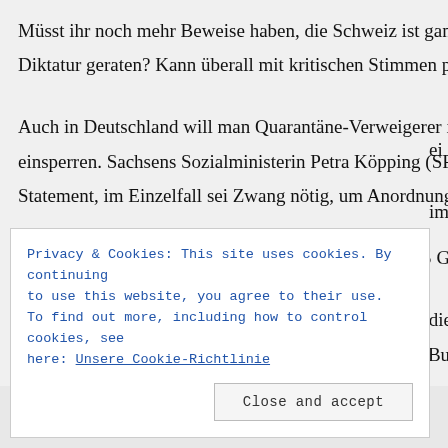Müsst ihr noch mehr Beweise haben, die Schweiz ist ganz schnell in eine Diktatur geraten? Kann überall mit kritischen Stimmen passieren.
Auch in Deutschland will man Quarantäne-Verweigerer in Psychiatrien einsperren. Sachsens Sozialministerin Petra Köpping (SPD) erklärte in einem Statement, im Einzelfall sei Zwang nötig, um Anordnungen durchzusetzen.
Behauptet später ja nicht, "ICH HABE VON NICHTS GEWUSST!!!"
Mir ist ähnliches 2009 passiert. Weil ich kritisch über die Massnahmen der damaligen Schweinegrippe geschrieben habe, hat das Bundesamt für Gesundheit...
Privacy & Cookies: This site uses cookies. By continuing to use this website, you agree to their use. To find out more, including how to control cookies, see here: Unsere Cookie-Richtlinie
Close and accept